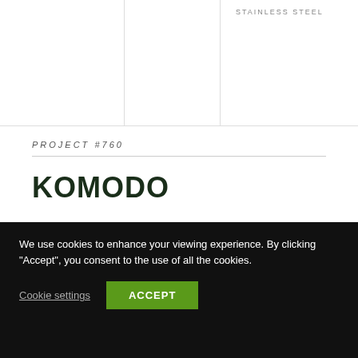STAINLESS STEEL
PROJECT #760
KOMODO
ABOUT THIS PROJECT
This is a perfect example of our standard Komodo
We use cookies to enhance your viewing experience. By clicking “Accept”, you consent to the use of all the cookies.
Cookie settings
ACCEPT